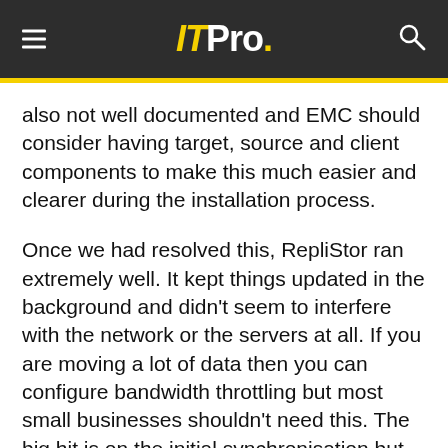ITPro.
also not well documented and EMC should consider having target, source and client components to make this much easier and clearer during the installation process.
Once we had resolved this, RepliStor ran extremely well. It kept things updated in the background and didn't seem to interfere with the network or the servers at all. If you are moving a lot of data then you can configure bandwidth throttling but most small businesses shouldn't need this. The big hit is on the initial synchronisation but this could be done by temporarily locating the source and target machines